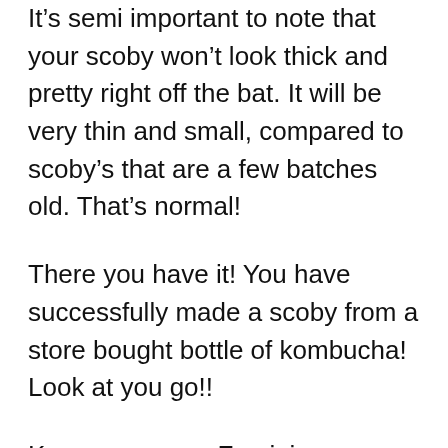It's semi important to note that your scoby won't look thick and pretty right off the bat. It will be very thin and small, compared to scoby's that are a few batches old. That's normal!
There you have it! You have successfully made a scoby from a store bought bottle of kombucha! Look at you go!!
Keep an eye on Feminine Boutique Blog for more information coming your way on fermentation and the kombucha making process. My next post will be all about brewing and bottling a batch of kombucha. You won't want to miss that, it's truly a beautiful